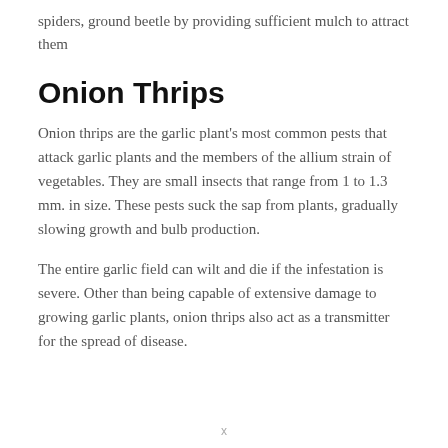spiders, ground beetle by providing sufficient mulch to attract them
Onion Thrips
Onion thrips are the garlic plant's most common pests that attack garlic plants and the members of the allium strain of vegetables. They are small insects that range from 1 to 1.3 mm. in size. These pests suck the sap from plants, gradually slowing growth and bulb production.
The entire garlic field can wilt and die if the infestation is severe. Other than being capable of extensive damage to growing garlic plants, onion thrips also act as a transmitter for the spread of disease.
x